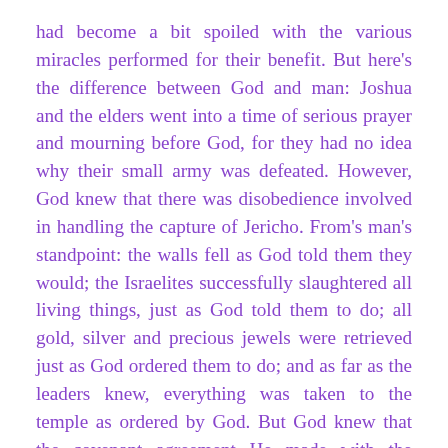had become a bit spoiled with the various miracles performed for their benefit. But here's the difference between God and man: Joshua and the elders went into a time of serious prayer and mourning before God, for they had no idea why their small army was defeated. However, God knew that there was disobedience involved in handling the capture of Jericho. From's man's standpoint: the walls fell as God told them they would; the Israelites successfully slaughtered all living things, just as God told them to do; all gold, silver and precious jewels were retrieved just as God ordered them to do; and as far as the leaders knew, everything was taken to the temple as ordered by God. But God knew that the covenant agreement He made with the Israelites had been broken. Unfortunately this happens all too often in our lives also. God agrees to